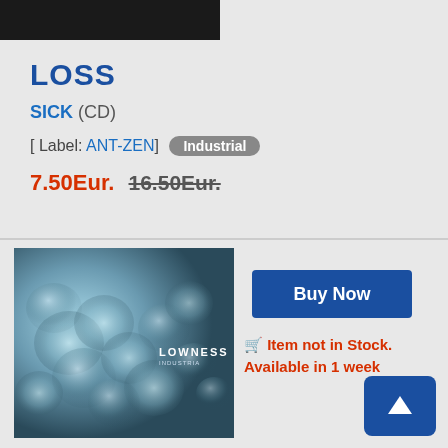[Figure (photo): Dark cropped image at top of page (album or product photo, mostly black)]
LOSS
SICK (CD)
[ Label: ANT-ZEN]  Industrial
7.50Eur.  16.50Eur.
[Figure (photo): Album cover for LOWNESS - liquid metallic silver/chrome abstract bubble texture]
Buy Now
Item not in Stock. Available in 1 week